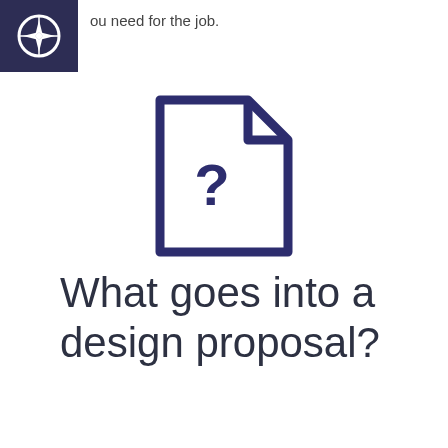ou need for the job.
[Figure (illustration): Document icon with a question mark inside, rendered in dark navy blue outline style]
What goes into a design proposal?